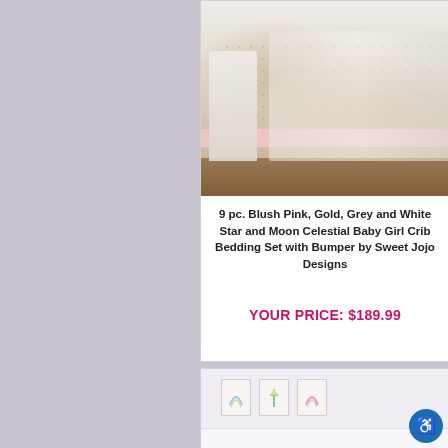[Figure (photo): Baby girl crib bedding set with blush pink stripe, white and grey star/moon celestial pattern, shown in a nursery room setting]
9 pc. Blush Pink, Gold, Grey and White Star and Moon Celestial Baby Girl Crib Bedding Set with Bumper by Sweet Jojo Designs
YOUR PRICE: $189.99
[Figure (photo): Nursery room with three framed rainbow and pineapple art prints on the wall, white crib visible below]